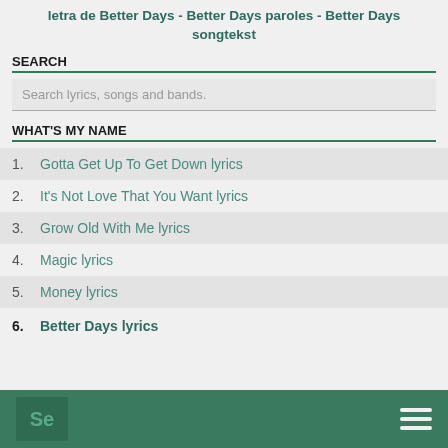letra de Better Days - Better Days paroles - Better Days songtekst
SEARCH
Search lyrics, songs and bands.
WHAT'S MY NAME
1. Gotta Get Up To Get Down lyrics
2. It's Not Love That You Want lyrics
3. Grow Old With Me lyrics
4. Magic lyrics
5. Money lyrics
6. Better Days lyrics